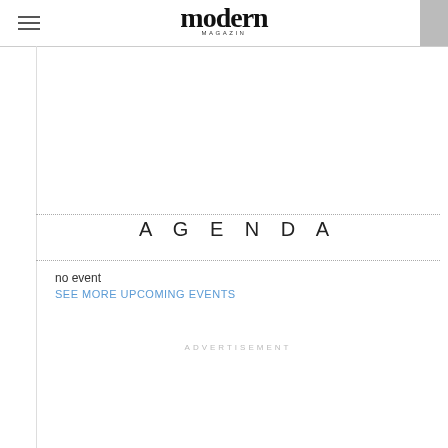modern MAGAZIN
AGENDA
no event
SEE MORE UPCOMING EVENTS
ADVERTISEMENT